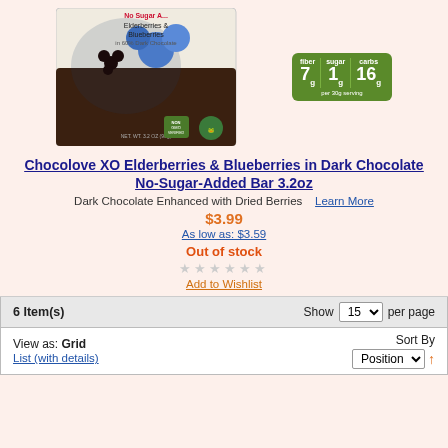[Figure (photo): Product image of Chocolove XO Elderberries & Blueberries in 60% Dark Chocolate No-Sugar-Added Bar, showing chocolate bar packaging with berries and nutrition badge showing fiber 7g, sugar 1g, carbs 16g per 30g serving]
Chocolove XO Elderberries & Blueberries in Dark Chocolate No-Sugar-Added Bar 3.2oz
Dark Chocolate Enhanced with Dried Berries   Learn More
$3.99
As low as: $3.59
Out of stock
★★★★★★
Add to Wishlist
6 Item(s)
Show 15 per page
View as: Grid
List (with details)
Sort By Position ↑